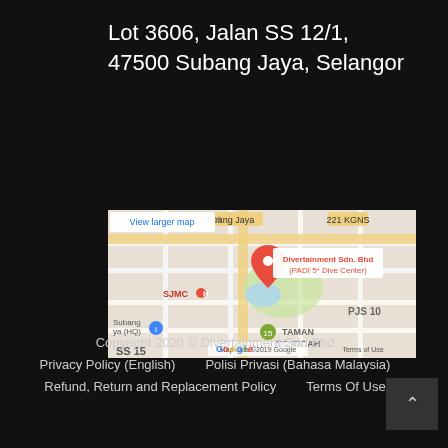Lot 3606, Jalan SS 12/1,
47500 Subang Jaya, Selangor
[Figure (map): Google Map showing the location of Divertainment Sdn. Bhd (PADI 5* Dive Center) in Subang Jaya, Selangor. The map shows landmarks: SJMC, PJS 10, Taman Subang Indah, SS 15. Map data ©2019 Google. Includes a 'View larger map' link.]
Copyright 2020 © Divertainment Sdn Bhd
Privacy Policy (English)    Polisi Privasi (Bahasa Malaysia)
Refund, Return and Replacement Policy    Terms Of Use